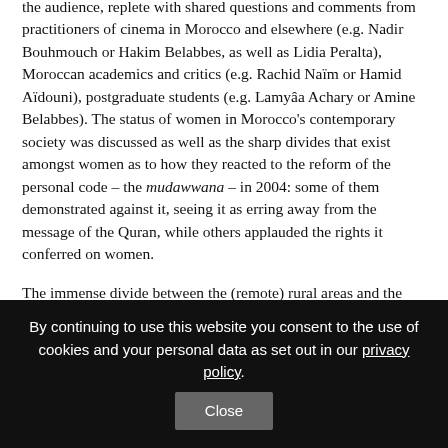the audience, replete with shared questions and comments from practitioners of cinema in Morocco and elsewhere (e.g. Nadir Bouhmouch or Hakim Belabbes, as well as Lidia Peralta), Moroccan academics and critics (e.g. Rachid Naïm or Hamid Aïdouni), postgraduate students (e.g. Lamyâa Achary or Amine Belabbes). The status of women in Morocco's contemporary society was discussed as well as the sharp divides that exist amongst women as to how they reacted to the reform of the personal code – the mudawwana – in 2004: some of them demonstrated against it, seeing it as erring away from the message of the Quran, while others applauded the rights it conferred on women.
The immense divide between the (remote) rural areas and the urban centers was also evoked as one of the primary factors
By continuing to use this website you consent to the use of cookies and your personal data as set out in our privacy policy.